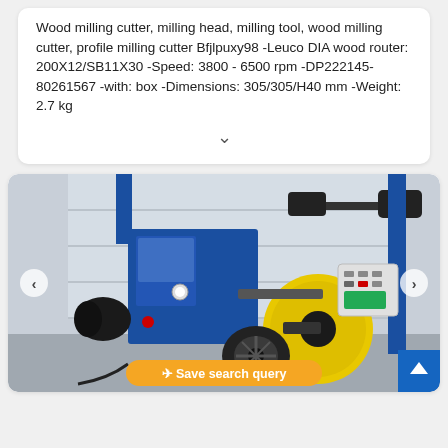Wood milling cutter, milling head, milling tool, wood milling cutter, profile milling cutter Bfjlpuxy98 -Leuco DIA wood router: 200X12/SB11X30 -Speed: 3800 - 6500 rpm -DP222145-80261567 -with: box -Dimensions: 305/305/H40 mm -Weight: 2.7 kg
[Figure (photo): Photo of a large industrial blue and yellow milling/grinding machine with control panel, various mechanical arms and attachments, photographed outdoors in front of a garage door. A 'Save search query' button overlay appears at the bottom.]